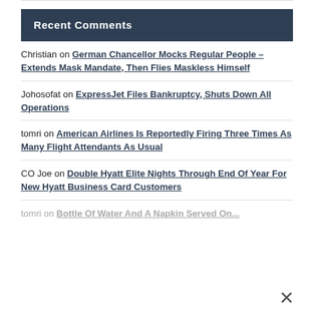Recent Comments
Christian on German Chancellor Mocks Regular People – Extends Mask Mandate, Then Flies Maskless Himself
Johosofat on ExpressJet Files Bankruptcy, Shuts Down All Operations
tomri on American Airlines Is Reportedly Firing Three Times As Many Flight Attendants As Usual
CO Joe on Double Hyatt Elite Nights Through End Of Year For New Hyatt Business Card Customers
tomri on Bottle Of Water And A Napkin Served On...